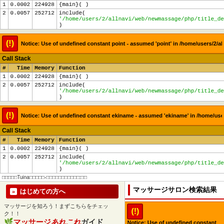| # | Time | Memory | Function |
| --- | --- | --- | --- |
| 1 | 0.0002 | 224928 | {main}( ) |
| 2 | 0.0057 | 252712 | include( '/home/users/2/allnavi/web/newmassage/php/title_detail.php' ) |
Notice: Use of undefined constant point - assumed 'point' in /home/users/2/allnavi/we
| # | Time | Memory | Function |
| --- | --- | --- | --- |
| 1 | 0.0002 | 224928 | {main}( ) |
| 2 | 0.0057 | 252712 | include( '/home/users/2/allnavi/web/newmassage/php/title_detail.php' ) |
Notice: Use of undefined constant ekiname - assumed 'ekiname' in /home/users/2/all
| # | Time | Memory | Function |
| --- | --- | --- | --- |
| 1 | 0.0002 | 224928 | {main}( ) |
| 2 | 0.0057 | 252712 | include( '/home/users/2/allnavi/web/newmassage/php/title_detail.php' ) |
はじめての方へ
マッサージを知ろう！まずこちらをチェック！！ マッサージあれこれガイド
HOW TO MASSAGE SALON NAVI マッサージサロンナビの使い方
健康関連の通販ショップがいっぱい 健康関連通販ショップ
マッサージサロン検索結果
Notice: Use of undefined constant no /home/users/2/allnavi/web/newmassage/php/i
| # | Time | Memory | Function |
| --- | --- | --- | --- |
| 1 | 0.0002 | 224928 | {main}( ) |
| 2 | 0.0068 | 257192 | include( '/home/users/2/all |